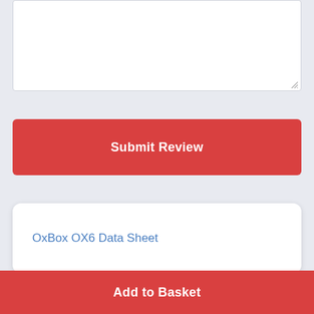[Figure (screenshot): Text area input box, empty, with resize handle at bottom-right corner]
Submit Review
OxBox OX6 Data Sheet
Add to Basket